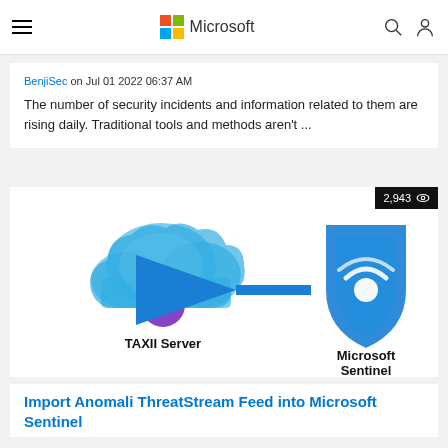Microsoft
BenjiSec on Jul 01 2022 06:37 AM

The number of security incidents and information related to them are rising daily. Traditional tools and methods aren't ...
[Figure (illustration): Diagram showing TAXII Server (cloud icon with purple circle/key) connected via blue arrow to Microsoft Sentinel (blue shield icon). Labels read 'TAXII Server' and 'Microsoft Sentinel'. View count badge shows 2,943.]
Import Anomali ThreatStream Feed into Microsoft Sentinel